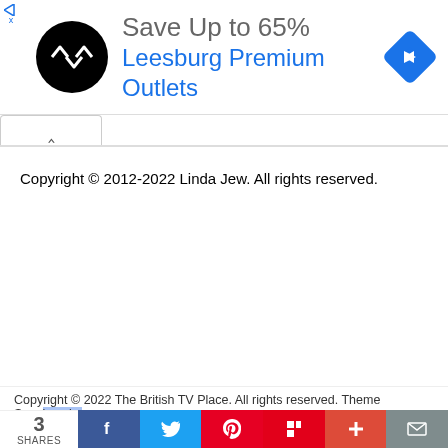[Figure (screenshot): Advertisement banner: black circular logo with arrows icon, text 'Save Up to 65%' in gray, 'Leesburg Premium Outlets' in blue, blue diamond navigation icon on right, small ad controls on left]
Copyright © 2012-2022 Linda Jew. All rights reserved.
Copyright © 2022 The British TV Place. All rights reserved. Theme Spacious by
[Figure (screenshot): Social sharing bar with share count '3 SHARES' and buttons for Facebook, Twitter, Pinterest, Flipboard, Plus, and Email]